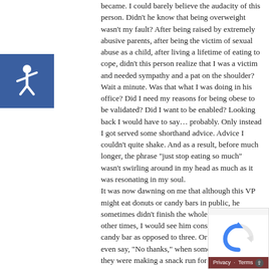[Figure (illustration): Blue square accessibility icon with white wheelchair/person symbol]
became. I could barely believe the audacity of this person. Didn't he know that being overweight wasn't my fault? After being raised by extremely abusive parents, after being the victim of sexual abuse as a child, after living a lifetime of eating to cope, didn't this person realize that I was a victim and needed sympathy and a pat on the shoulder?
Wait a minute. Was that what I was doing in his office? Did I need my reasons for being obese to be validated? Did I want to be enabled? Looking back I would have to say... probably. Only instead I got served some shorthand advice. Advice I couldn't quite shake. And as a result, before much longer, the phrase "just stop eating so much" wasn't swirling around in my head as much as it was resonating in my soul.
It was now dawning on me that although this VP might eat donuts or candy bars in public, he sometimes didn't finish the whole donut. And other times, I would see him consume just one candy bar as opposed to three. Or an apple. Or even say, "No thanks," when someone told him they were making a snack run for our department.
"Just stop eating so much," you say?
Well, it turns out that the rudest and most insensitive advice I'd ever received also happened to be the most effective. It wasn't long before I did just stop eating so much and, along with incorporating healthy amounts of exercise, took off over 250 pounds of excess weight within a year's time. No pills, surgery, or any wacky diets required.
[Figure (illustration): reCAPTCHA privacy badge with dark red Privacy/Terms bar and arrow button]